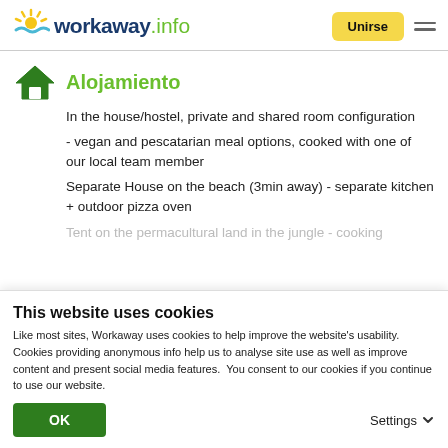workaway.info — Unirse
Alojamiento
In the house/hostel, private and shared room configuration
- vegan and pescatarian meal options, cooked with one of our local team member
Separate House on the beach (3min away) - separate kitchen + outdoor pizza oven
Tent on the permacultural land in the jungle - cooking
This website uses cookies
Like most sites, Workaway uses cookies to help improve the website's usability. Cookies providing anonymous info help us to analyse site use as well as improve content and present social media features.  You consent to our cookies if you continue to use our website.
OK   Settings